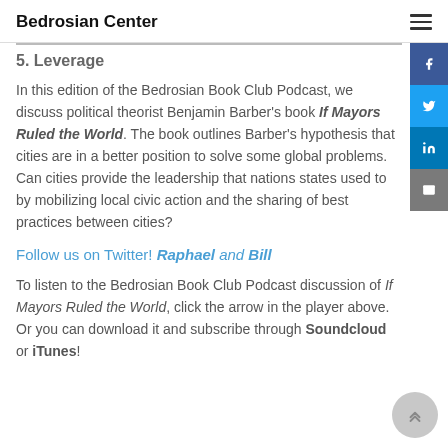Bedrosian Center
5. Leverage
In this edition of the Bedrosian Book Club Podcast, we discuss political theorist Benjamin Barber’s book If Mayors Ruled the World. The book outlines Barber’s hypothesis that cities are in a better position to solve some global problems. Can cities provide the leadership that nations states used to by mobilizing local civic action and the sharing of best practices between cities?
Follow us on Twitter! Raphael and Bill
To listen to the Bedrosian Book Club Podcast discussion of If Mayors Ruled the World, click the arrow in the player above. Or you can download it and subscribe through Soundcloud or iTunes!